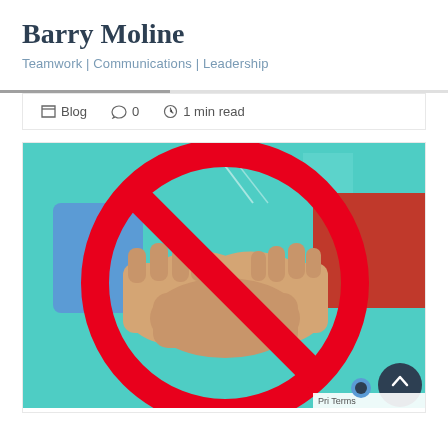Barry Moline
Teamwork | Communications | Leadership
📁 Blog  💬 0  🕐 1 min read
[Figure (illustration): Illustration of two people shaking hands with a large red prohibition circle-and-slash overlaid on top, on a teal background with speech bubble shapes. A small scroll-to-top button and Privacy/Terms footer link appear in the bottom right corner.]